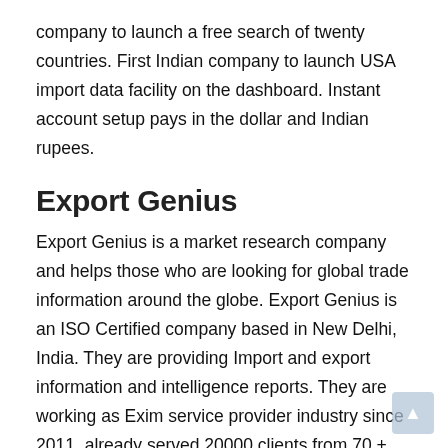company to launch a free search of twenty countries. First Indian company to launch USA import data facility on the dashboard. Instant account setup pays in the dollar and Indian rupees.
Export Genius
Export Genius is a market research company and helps those who are looking for global trade information around the globe. Export Genius is an ISO Certified company based in New Delhi, India. They are providing Import and export information and intelligence reports. They are working as Exim service provider industry since 2011, already served 20000 clients from 70 + countries. They evolved as a market-based leader in export and import data industry. They collect raw trade data from multiple countries Ports & other Authorities, then their expert